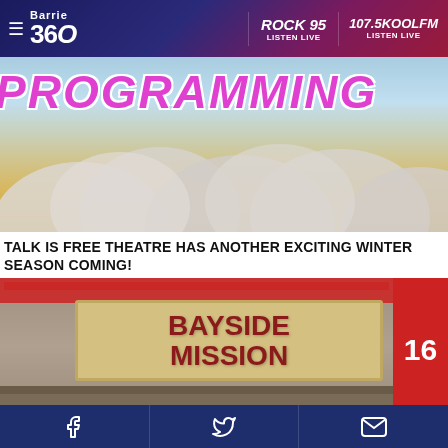Barrie 360 | ROCK 95 LISTEN LIVE | 107.5KOOLFM LISTEN LIVE
[Figure (photo): Hero image showing the word PROGRAMMING in large pink/magenta italic text over a sky with clouds]
TALK IS FREE THEATRE HAS ANOTHER EXCITING WINTER SEASON COMING!
[Figure (photo): Photo of the Bayside Mission building sign, a brick building with a red sign reading BAYSIDE MISSION, with the number 16 visible on a red box to the right]
Social share buttons: Facebook, Twitter, Email